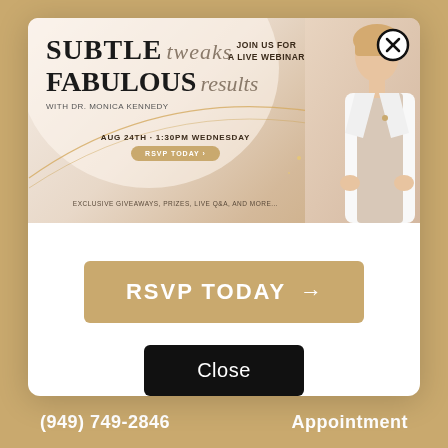[Figure (infographic): Webinar promotional banner for 'Subtle Tweaks Fabulous Results' live webinar with Dr. Monica Kennedy, August 24th 1:30PM Wednesday, featuring a female doctor in white coat]
RSVP TODAY →
Close
(949) 749-2846   Appointment